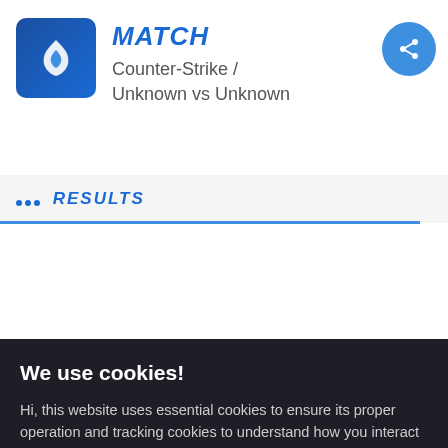MATCH
Counter-Strike / Unknown vs Unknown
RESULTS
We use cookies!
Hi, this website uses essential cookies to ensure its proper operation and tracking cookies to understand how you interact with it. The latter will be set only after consent. Let me choose
Accept
Reject
MUTUAL